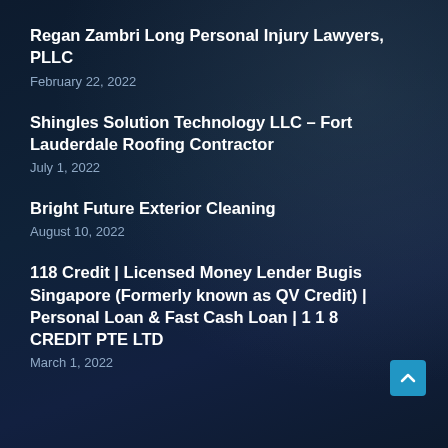Regan Zambri Long Personal Injury Lawyers, PLLC
February 22, 2022
Shingles Solution Technology LLC – Fort Lauderdale Roofing Contractor
July 1, 2022
Bright Future Exterior Cleaning
August 10, 2022
118 Credit | Licensed Money Lender Bugis Singapore (Formerly known as QV Credit) | Personal Loan & Fast Cash Loan | 1 1 8 CREDIT PTE LTD
March 1, 2022